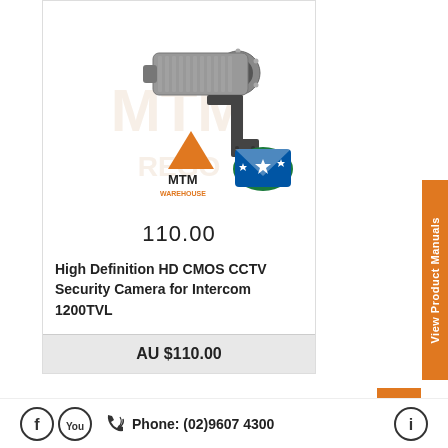[Figure (photo): Security camera (bullet-style CCTV camera with bracket mount) product photo with MTM Warehouse logo and Australian flag watermark]
110.00
High Definition HD CMOS CCTV Security Camera for Intercom 1200TVL
AU $110.00
View Product Manuals
Phone: (02)9607 4300